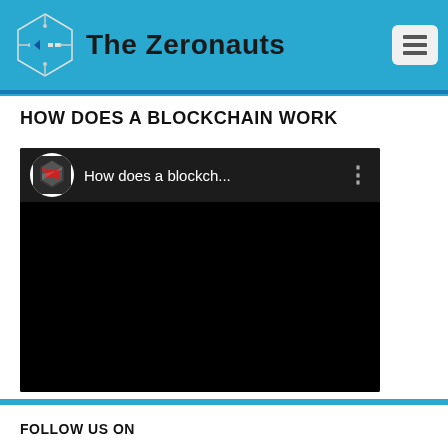The Zeronauts
HOW DOES A BLOCKCHAIN WORK
[Figure (screenshot): Embedded YouTube video thumbnail showing 'How does a blockch...' with a hexagonal S logo icon on a dark bar, video body is black/dark]
FOLLOW US ON